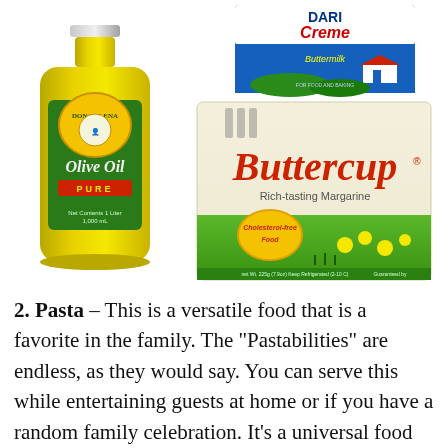[Figure (photo): Photo of three food products: a bottle of Dona Elena Pure Olive Oil on the left, a Dari Creme Buttermilk carton at the top center-right, and a Buttercup Rich-tasting Margarine box at the center-right.]
2. Pasta – This is a versatile food that is a favorite in the family. The "Pastabilities" are endless, as they would say. You can serve this while entertaining guests at home or if you have a random family celebration. It's a universal food in every household. There are over a hundred recipes online which you